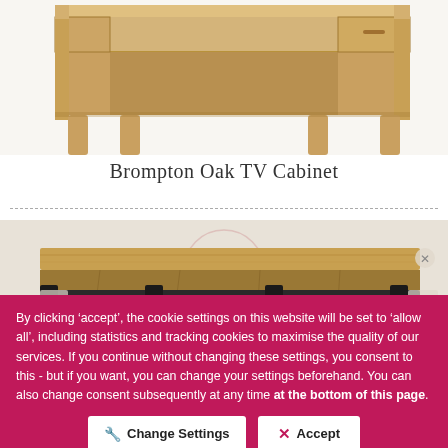[Figure (photo): Partial view of a Brompton Oak TV Cabinet, showing the lower portion with wooden body, shelf, and legs against white background]
Brompton Oak TV Cabinet
[Figure (photo): Rustic wooden TV cabinet with dark metal barn-door style sliding hardware and open shelf, partially visible]
By clicking ‘accept’, the cookie settings on this website will be set to ‘allow all’, including statistics and tracking cookies to maximise the quality of our services. If you continue without changing these settings, you consent to this - but if you want, you can change your settings beforehand. You can also change consent subsequently at any time at the bottom of this page.